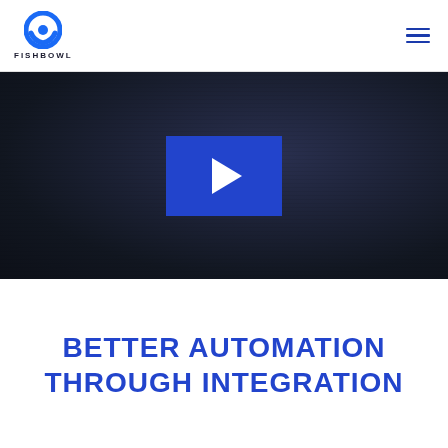FISHBOWL
[Figure (screenshot): Dark background video thumbnail with a blue play button rectangle in the center containing a white right-pointing triangle play icon]
BETTER AUTOMATION THROUGH INTEGRATION